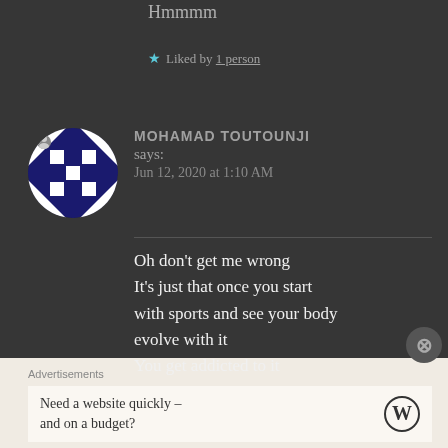Hmmmm
★ Liked by 1 person
MOHAMAD TOUTOUNJI says: Jun 12, 2020 at 1:10 AM
Oh don't get me wrong It's just that once you start with sports and see your body evolve with it You get addicted to it
Advertisements
Need a website quickly – and on a budget?